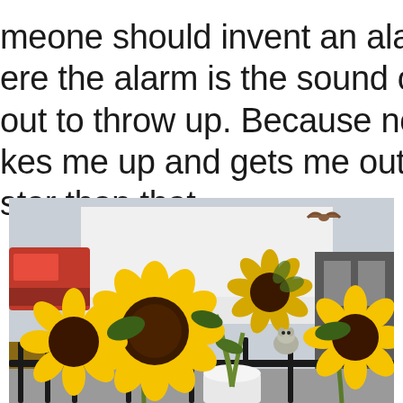meone should invent an alarm clo where the alarm is the sound of a do out to throw up. Because nothing kes me up and gets me out of be ster than that.
[Figure (photo): Photograph of bright yellow sunflowers in a white pot on a black railing, with a small grey bird (possibly a mouse or small animal) nestled among the stems. Background shows a cloudy sky, a white structure, and a red vehicle on the left.]